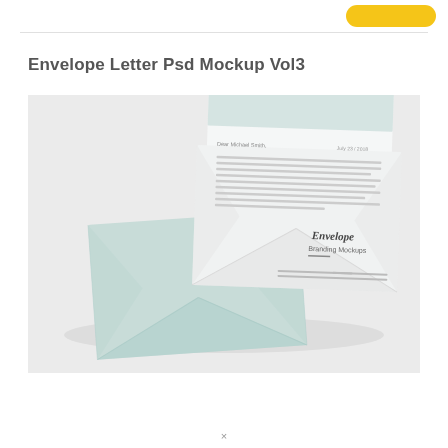Envelope Letter Psd Mockup Vol3
[Figure (photo): Product mockup photo showing two envelopes and a letter on a light gray surface. One envelope is open with a letter partially sticking out showing dummy text. The other envelope is closed and lying flat. Text on the envelope reads 'Envelope Branding Mockups'.]
×